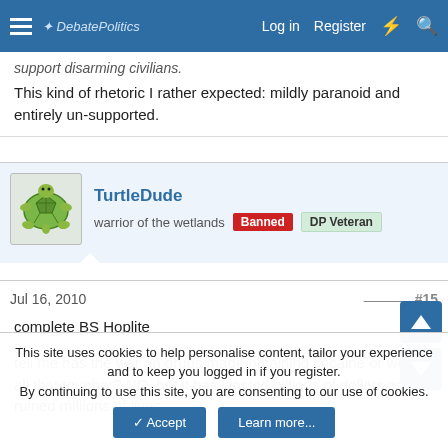DebatePolitics — Log in  Register
support disarming civilians.
This kind of rhetoric I rather expected: mildly paranoid and entirely un-supported.
TurtleDude — warrior of the wetlands — Banned — DP Veteran
Jul 16, 2010  #15
complete BS Hoplite
tell me has the war on drugs made obtaining cocaine or weed all that tougher? NO, but it has wasted billions of dollars and ruined millions of lives
This site uses cookies to help personalise content, tailor your experience and to keep you logged in if you register. By continuing to use this site, you are consenting to our use of cookies.